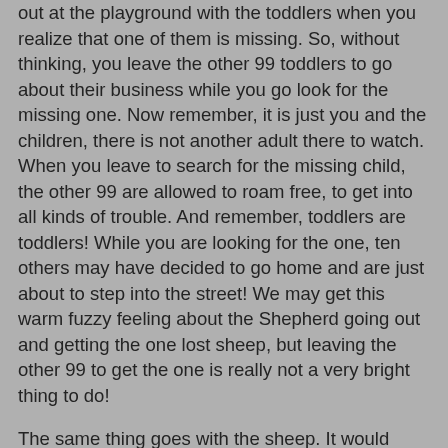out at the playground with the toddlers when you realize that one of them is missing. So, without thinking, you leave the other 99 toddlers to go about their business while you go look for the missing one. Now remember, it is just you and the children, there is not another adult there to watch. When you leave to search for the missing child, the other 99 are allowed to roam free, to get into all kinds of trouble. And remember, toddlers are toddlers! While you are looking for the one, ten others may have decided to go home and are just about to step into the street! We may get this warm fuzzy feeling about the Shepherd going out and getting the one lost sheep, but leaving the other 99 to get the one is really not a very bright thing to do!
The same thing goes with the sheep. It would really be silly for a shepherd to allow the other 99 sheep to go roaming around, possibly into the mouths of wolves just so he could find the one lost sheep. It would make more sense to just chalk the lost one up to experience, assume the loss in revenue and go on. The shepherd runs the risk of losing much more by looking for the lost sheep than by not going, and keeping the other 99 safe.